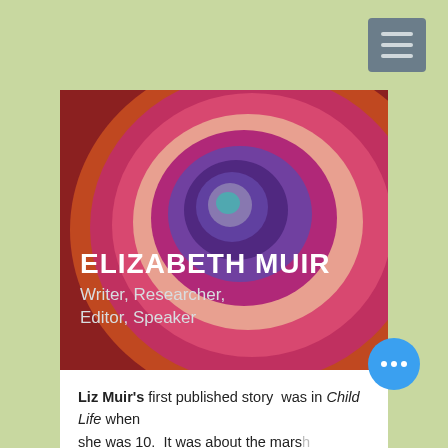[Figure (illustration): Abstract concentric circle painting in warm reds, pinks, purples and magenta tones with a blue-green center, serving as a hero banner background for Elizabeth Muir's website]
ELIZABETH MUIR
Writer, Researcher, Editor, Speaker
Liz Muir's first published story was in Child Life when she was 10. It was about the marsh hens that lived in the marsh in front of the Ottawa Valley farmhouse. The